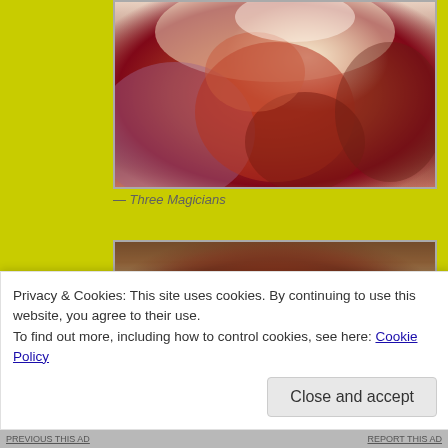[Figure (illustration): Fantastical painting of multiple reddish humanoid figures intertwined and falling, with outstretched hands, against a purple and white background. Style is painterly and surreal.]
— Three Magicians
[Figure (illustration): Fantastical painting showing a large red creature or figure with prominent lips and multiple eyes, with a rainbow arc and brown/gold textured background.]
Privacy & Cookies: This site uses cookies. By continuing to use this website, you agree to their use.
To find out more, including how to control cookies, see here: Cookie Policy
Close and accept